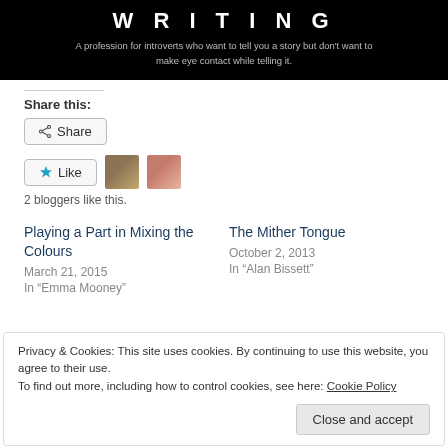[Figure (screenshot): Black banner with white bold title text 'WRITING' (partially cropped) and subtitle: 'A profession for introverts who want to tell you a story but don't want to make eye contact while telling it.']
Share this:
Share
Like
2 bloggers like this.
Playing a Part in Mixing the Colours
March 21, 2015
In "Emma Mooney"
The Mither Tongue
October 2, 2013
In "Alan Bissett"
Privacy & Cookies: This site uses cookies. By continuing to use this website, you agree to their use.
To find out more, including how to control cookies, see here: Cookie Policy
Close and accept